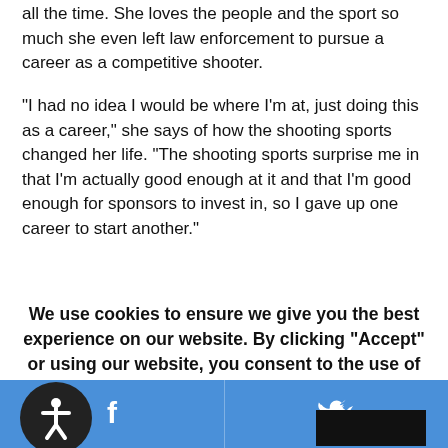all the time. She loves the people and the sport so much she even left law enforcement to pursue a career as a competitive shooter.
“I had no idea I would be where I'm at, just doing this as a career,” she says of how the shooting sports changed her life. “The shooting sports surprise me in that I'm actually good enough at it and that I'm good enough for sponsors to invest in, so I gave up one career to start another.”
What about the future? Muller says one day she would like to combine her love of barrel racing with shooting and try Cowboy Mounted Action Shooting. She’d also like to own a Tommy gun, calling it “such a cool gun” with a
We use cookies to ensure we give you the best experience on our website. By clicking "Accept" or using our website, you consent to the use of cookies unless you have disabled them.
[Figure (infographic): Social sharing bar with Facebook and Twitter icons on blue background, and an accessibility icon circle on the left side.]